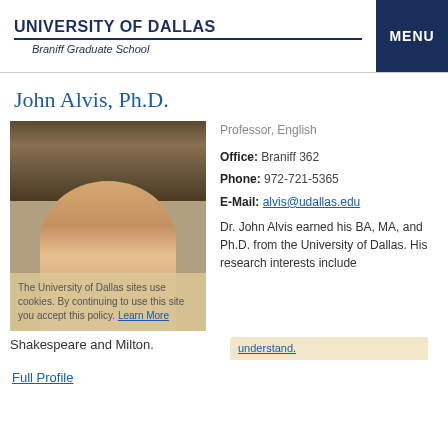UNIVERSITY OF DALLAS Braniff Graduate School
John Alvis, Ph.D.
[Figure (photo): Photo of John Alvis, an older man with gray hair, seated in front of a bookshelf]
Professor, English
Office: Braniff 362
Phone: 972-721-5365
E-Mail: alvis@udallas.edu
Dr. John Alvis earned his BA, MA, and Ph.D. from the University of Dallas. His research interests include
The University of Dallas sites use cookies. By continuing to use this site you accept this policy. Learn More
Shakespeare and Milton.
understand.
Full Profile